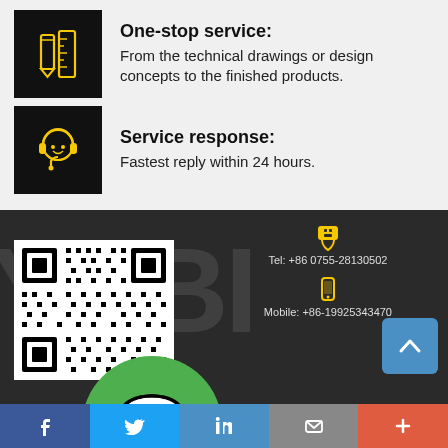[Figure (illustration): Black square icon with yellow pencil and ruler drawing tools]
One-stop service:
From the technical drawings or design concepts to the finished products.
[Figure (illustration): Black square icon with yellow headset/customer support icon]
Service response:
Fastest reply within 24 hours.
[Figure (illustration): Dark background section with company logo letters, QR code, telephone and mobile contact icons]
Tel: +86 0755-28130502
Mobile: +86-19925343470
[Figure (illustration): Social media bar with Facebook, Twitter, LinkedIn, Email, and More buttons]